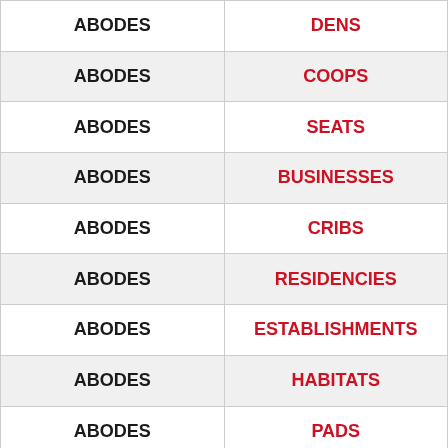| ABODES | DENS |
| ABODES | COOPS |
| ABODES | SEATS |
| ABODES | BUSINESSES |
| ABODES | CRIBS |
| ABODES | RESIDENCIES |
| ABODES | ESTABLISHMENTS |
| ABODES | HABITATS |
| ABODES | PADS |